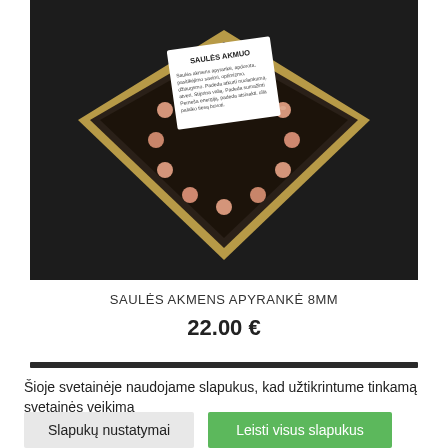[Figure (photo): A peach/orange sunstone bead bracelet displayed in a gold gift box with dark interior, accompanied by a white card labeled 'SAULĖS AKMUO' with descriptive text, photographed on a dark background.]
SAULĖS AKMENS APYRANKĖ 8MM
22.00 €
Šioje svetainėje naudojame slapukus, kad užtikrintume tinkamą svetainės veikimą
Slapukų nustatymai
Leisti visus slapukus